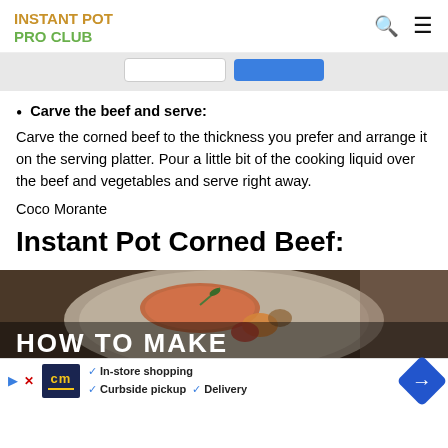INSTANT POT PRO CLUB
Carve the beef and serve:
Carve the corned beef to the thickness you prefer and arrange it on the serving platter. Pour a little bit of the cooking liquid over the beef and vegetables and serve right away.
Coco Morante
Instant Pot Corned Beef:
[Figure (photo): Food photo showing a plate with salmon/beef and vegetables with text overlay 'HOW TO MAKE']
[Figure (infographic): Advertisement banner: cm logo, In-store shopping, Curbside pickup, Delivery, with blue diamond arrow icon]